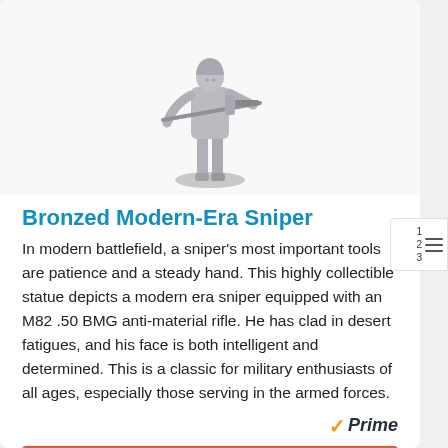[Figure (illustration): Silver/metallic figurine of a modern-era sniper soldier holding a rifle, standing on a base]
Bronzed Modern-Era Sniper
In modern battlefield, a sniper's most important tools are patience and a steady hand. This highly collectible statue depicts a modern era sniper equipped with an M82 .50 BMG anti-material rifle. He has clad in desert fatigues, and his face is both intelligent and determined. This is a classic for military enthusiasts of all ages, especially those serving in the armed forces.
[Figure (logo): Amazon Prime badge with orange checkmark and italic 'Prime' text]
Buy on Amazon